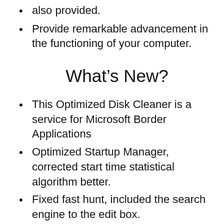also provided.
Provide remarkable advancement in the functioning of your computer.
What's New?
This Optimized Disk Cleaner is a service for Microsoft Border Applications
Optimized Startup Manager, corrected start time statistical algorithm better.
Fixed fast hunt, included the search engine to the edit box.
System Requirements:
Windows 10, 7, 8, 8.1, XP, & 2008 also Vista